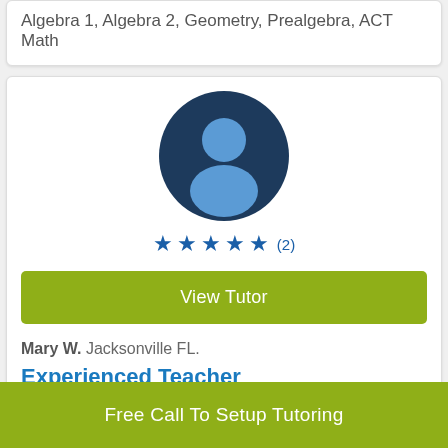Algebra 1, Algebra 2, Geometry, Prealgebra, ACT Math
[Figure (illustration): Generic user avatar silhouette — circular portrait placeholder with dark blue background and light blue person silhouette]
★★★★★ (2)
View Tutor
Mary W. Jacksonville FL.
Experienced Teacher
Free Call To Setup Tutoring